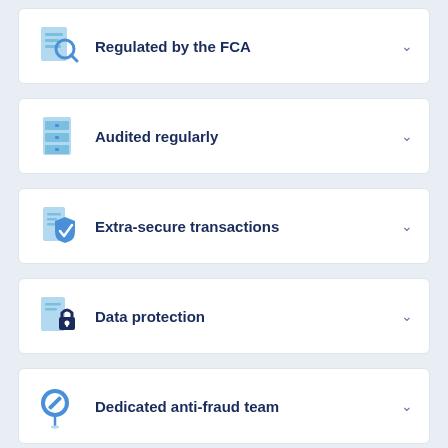Regulated by the FCA
Audited regularly
Extra-secure transactions
Data protection
Dedicated anti-fraud team